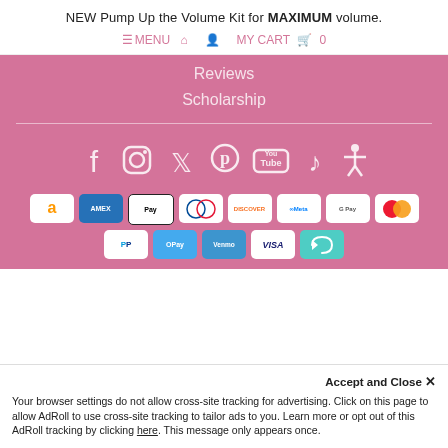NEW Pump Up the Volume Kit for MAXIMUM volume.
≡ MENU  🏠  👤  MY CART  🛒  0
Reviews
Scholarship
[Figure (infographic): Social media icons row: Facebook, Instagram, Twitter, Pinterest, YouTube, TikTok, Accessibility icon]
[Figure (infographic): Payment method badges: Amazon, Amex, Apple Pay, Diners Club, Discover, Meta Pay, Google Pay, Mastercard, PayPal, OPay, Venmo, Visa, loop/return arrow]
Accept and Close ✕
Your browser settings do not allow cross-site tracking for advertising. Click on this page to allow AdRoll to use cross-site tracking to tailor ads to you. Learn more or opt out of this AdRoll tracking by clicking here. This message only appears once.